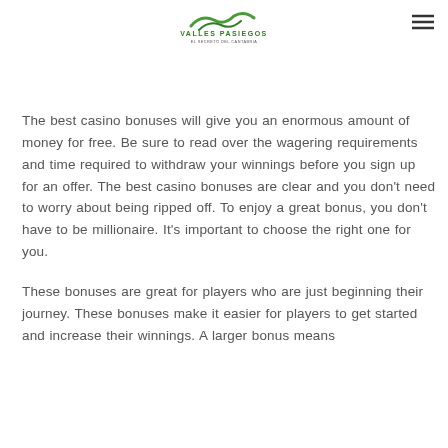Valles Pasiegos
The best casino bonuses will give you an enormous amount of money for free. Be sure to read over the wagering requirements and time required to withdraw your winnings before you sign up for an offer. The best casino bonuses are clear and you don't need to worry about being ripped off. To enjoy a great bonus, you don't have to be millionaire. It's important to choose the right one for you.
These bonuses are great for players who are just beginning their journey. These bonuses make it easier for players to get started and increase their winnings. A larger bonus means